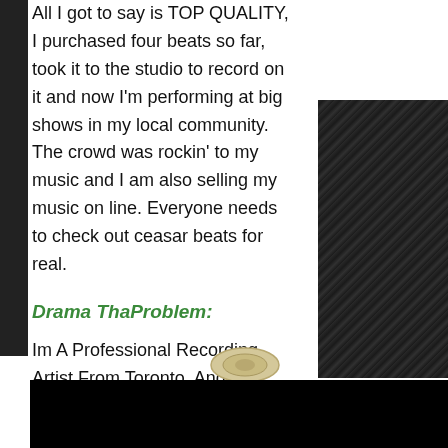All I got to say is TOP QUALITY, I purchased four beats so far, took it to the studio to record on it and now I'm performing at big shows in my local community. The crowd was rockin' to my music and I am also selling my music on line. Everyone needs to check out ceasar beats for real.
Drama ThaProblem:
Im A Professional Recording Artist From Toronto, And This Beat is Effffin Crazy!! Shout Outs to my Boy Ceasar On The free Beat!!
[Figure (photo): Mixing board / audio console in dark lighting]
[Figure (photo): Logo or decorative emblem shape]
[Figure (photo): Black rectangle, likely a video embed placeholder]